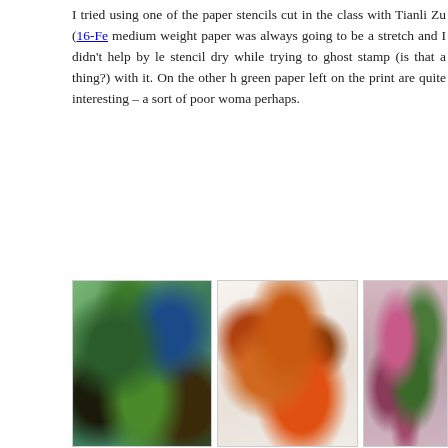I tried using one of the paper stencils cut in the class with Tianli Zu (16-Fe... medium weight paper was always going to be a stretch and I didn't help by le... stencil dry while trying to ghost stamp (is that a thing?) with it. On the other h... green paper left on the print are quite interesting – a sort of poor woma... perhaps.
[Figure (photo): Three art prints side by side. Left: abstract colorful print with green, blue, and dark organic shapes. Middle: abstract print with orange/brown organic shapes on white background with black outlines. Right: partially visible print with pink/mauve tones and green shapes.]
By this time I was wheeling fast and loose. Both sides of paper, planned/impro... I now understand why many people on the internet videos work through a s... printed paper. My Akua inks are beautiful and transparent, and I think wou... planning to use many layers. With acrylics you can keep working on a page...